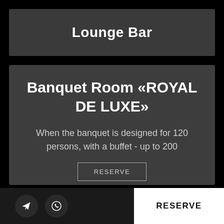Lounge Bar
Banquet Room «ROYAL DE LUXE»
When the banquet is designed for 120 persons, with a buffet - up to 200
RESERVE
RESERVE